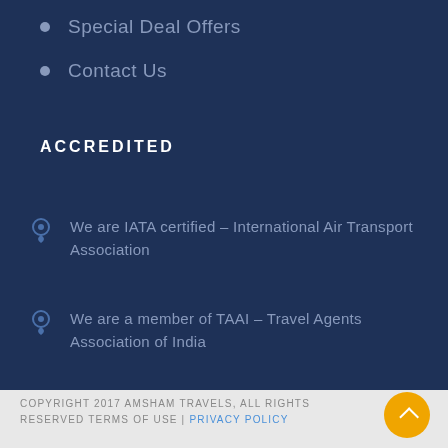Special Deal Offers
Contact Us
ACCREDITED
We are IATA certified – International Air Transport Association
We are a member of TAAI – Travel Agents Association of India
COPYRIGHT 2017 AMSHAM TRAVELS, ALL RIGHTS RESERVED TERMS OF USE | PRIVACY POLICY